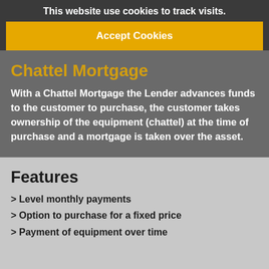This website use cookies to track visits.
Accept Cookies
Chattel Mortgage
With a Chattel Mortgage the Lender advances funds to the customer to purchase, the customer takes ownership of the equipment (chattel) at the time of purchase and a mortgage is taken over the asset.
Features
> Level monthly payments
> Option to purchase for a fixed price
> Payment of equipment over time